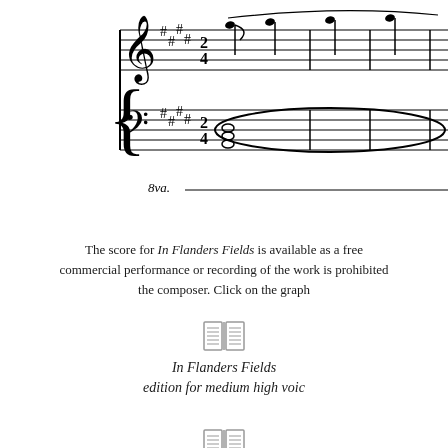[Figure (illustration): Music score excerpt showing treble and bass clef staves with key signature of sharps, notes, ties, and an 8va marking below. Bass clef shows whole notes with long tie/slur markings forming an elongated oval shape.]
The score for In Flanders Fields is available as a free download. commercial performance or recording of the work is prohibited without permission of the composer. Click on the graph
[Figure (illustration): Book/score icon representing In Flanders Fields edition for medium high voice]
In Flanders Fields
edition for medium high voice
[Figure (illustration): Book/score icon representing In Flanders Fields edition for low voice]
In Flanders Fields
edition for low voice